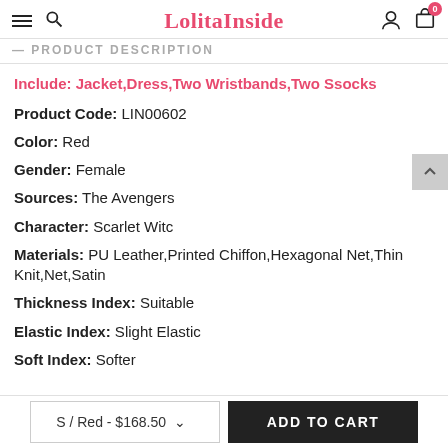LolitaInside
PRODUCT DESCRIPTION
Include: Jacket,Dress,Two Wristbands,Two Ssocks
Product Code: LIN00602
Color: Red
Gender: Female
Sources: The Avengers
Character: Scarlet Witc
Materials: PU Leather,Printed Chiffon,Hexagonal Net,Thin Knit,Net,Satin
Thickness Index: Suitable
Elastic Index: Slight Elastic
Soft Index: Softer
S / Red - $168.50   ADD TO CART